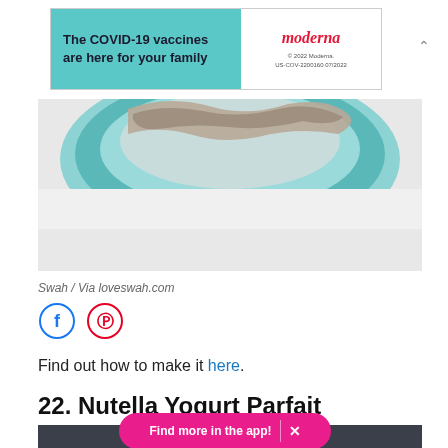[Figure (other): Moderna COVID-19 vaccine advertisement banner with teal background on left showing text 'The COVID-19 vaccines are here for your family' and white right side with Moderna logo]
[Figure (photo): Close-up photo of a teal/mint colored bowl or popsicle mold with food item visible from above, white background]
Swah / Via loveswah.com
[Figure (other): Social media share icons: Facebook (blue circle) and Pinterest (red circle)]
Find out how to make it here.
22. Nutella Yogurt Parfait Breakfast Popsicles
[Figure (photo): Bottom portion of a food photo showing a dark background with a white/cream colored popsicle or frozen treat]
Find more in the app!